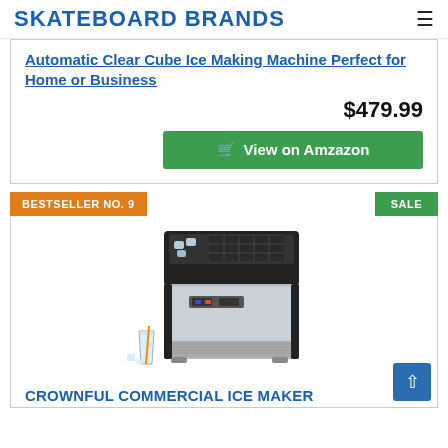SKATEBOARD BRANDS
Automatic Clear Cube Ice Making Machine Perfect for Home or Business
$479.99
View on Amzazon
BESTSELLER NO. 9
SALE
[Figure (photo): Commercial ice maker machine, stainless steel body with black top, digital display panel, and a glass of iced drink beside it]
CROWNFUL Commercial Ice Maker